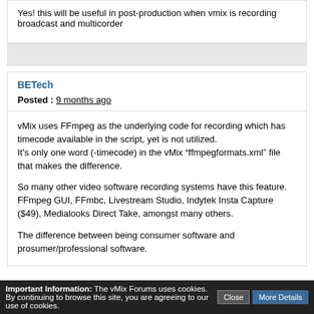Yes! this will be useful in post-production when vmix is recording broadcast and multicorder
BETech
Posted : 9 months ago
vMix uses FFmpeg as the underlying code for recording which has timecode available in the script, yet is not utilized.
It's only one word (-timecode) in the vMix “ffmpegformats.xml” file that makes the difference.

So many other video software recording systems have this feature. FFmpeg GUI, FFmbc, Livestream Studio, Indytek Insta Capture ($49), Medialooks Direct Take, amongst many others.

The difference between being consumer software and prosumer/professional software.
Important Information: The vMix Forums uses cookies. By continuing to browse this site, you are agreeing to our use of cookies.